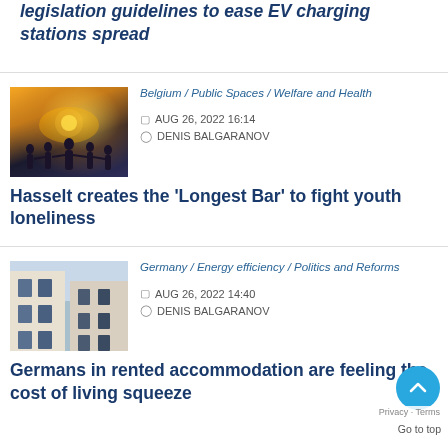legislation guidelines to ease EV charging stations spread
Belgium / Public Spaces / Welfare and Health
AUG 26, 2022 16:14
DENIS BALGARANOV
[Figure (photo): People holding hands in a circle at sunset, silhouetted against bright sunlight]
Hasselt creates the 'Longest Bar' to fight youth loneliness
Germany / Energy efficiency / Politics and Reforms
AUG 26, 2022 14:40
DENIS BALGARANOV
[Figure (photo): Looking upward at a building facade with windows and white exterior walls against a blue sky]
Germans in rented accommodation are feeling the cost of living squeeze